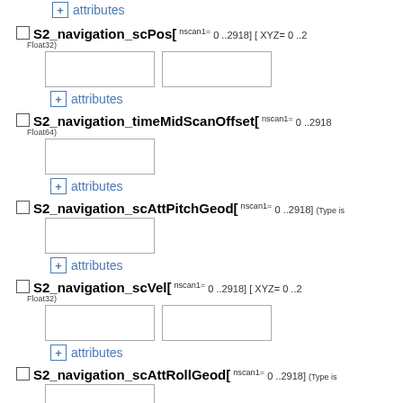+ attributes
S2_navigation_scPos[ nscan1= 0 ..2918] [ XYZ= 0 ..2]
+ attributes
S2_navigation_timeMidScanOffset[ nscan1= 0 ..2918]
+ attributes
S2_navigation_scAttPitchGeod[ nscan1= 0 ..2918] (Type is...)
+ attributes
S2_navigation_scVel[ nscan1= 0 ..2918] [ XYZ= 0 ..2]
+ attributes
S2_navigation_scAttRollGeod[ nscan1= 0 ..2918] (Type is...)
+ attributes
S2_navigation_scAttRollGeoc[ nscan1= 0 ..2918] (Type is...)
+ attributes